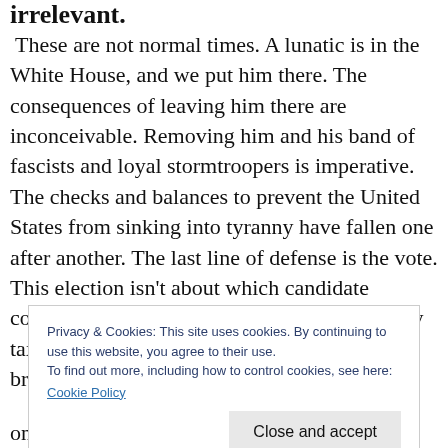irrelevant.
These are not normal times. A lunatic is in the White House, and we put him there. The consequences of leaving him there are inconceivable. Removing him and his band of fascists and loyal stormtroopers is imperative. The checks and balances to prevent the United States from sinking into tyranny have fallen one after another. The last line of defense is the vote. This election isn't about which candidate convinces you they agree with you on property taxes, the importance of home sales, or tax breaks. We have to forget about
Privacy & Cookies: This site uses cookies. By continuing to use this website, you agree to their use.
To find out more, including how to control cookies, see here:
Cookie Policy
once free elections vanish